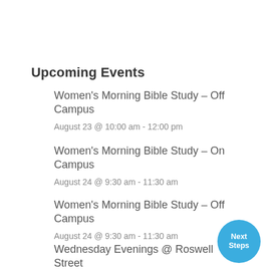Upcoming Events
Women's Morning Bible Study – Off Campus
August 23 @ 10:00 am - 12:00 pm
Women's Morning Bible Study – On Campus
August 24 @ 9:30 am - 11:30 am
Women's Morning Bible Study – Off Campus
August 24 @ 9:30 am - 11:30 am
Wednesday Evenings @ Roswell Street
[Figure (other): Blue circular button with white text reading 'Next Steps']